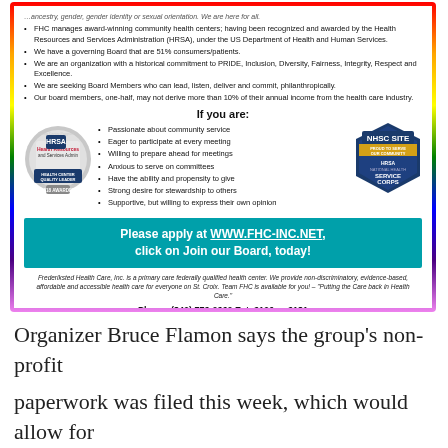FHC manages award-winning community health centers; having been recognized and awarded by the Health Resources and Services Administration (HRSA), under the US Department of Health and Human Services.
We have a governing Board that are 51% consumers/patients.
We are an organization with a historical commitment to PRIDE, Inclusion, Diversity, Fairness, Integrity, Respect and Excellence.
We are seeking Board Members who can lead, listen, deliver and commit, philanthropically.
Our board members, one-half, may not derive more than 10% of their annual income from the health care industry.
If you are:
Passionate about community service
Eager to participate at every meeting
Willing to prepare ahead for meetings
Anxious to serve on committees
Have the ability and propensity to give
Strong desire for stewardship to others
Supportive, but willing to express their own opinion
Please apply at WWW.FHC-INC.NET, click on Join our Board, today!
Frederiksted Health Care, Inc. is a primary care federally qualified health center. We provide non-discriminatory, evidence-based, affordable and accessible health care for everyone on St. Croix. Team FHC is available for you! – "Putting the Care back in Health Care."
Phone: (340) 772-0260 Ext. 2106 or 2131
Organizer Bruce Flamon says the group's non-profit paperwork was filed this week, which would allow for